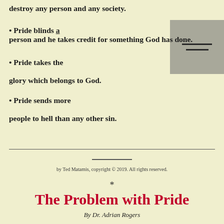destroy any person and any society.
• Pride blinds a person and he takes credit for something God has done.
• Pride takes the glory which belongs to God.
• Pride sends more people to hell than any other sin.
by Ted Matamis, copyright © 2019. All rights reserved.
The Problem with Pride
By Dr. Adrian Rogers